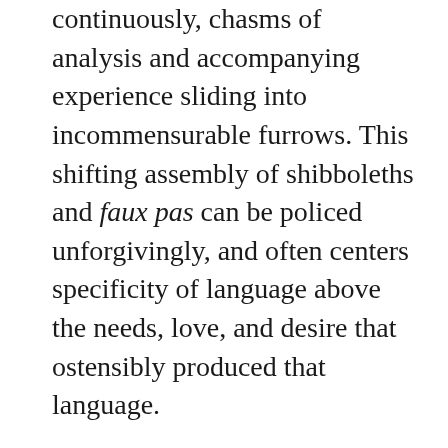continuously, chasms of analysis and accompanying experience sliding into incommensurable furrows. This shifting assembly of shibboleths and faux pas can be policed unforgivingly, and often centers specificity of language above the needs, love, and desire that ostensibly produced that language.
Too often, we have forgotten that trauma is a tangible component of what we're working with as individuals and communities. The hard work of solidarity has been replaced by a certain snobbery of dialect. There will always be many left beyond these circles who largely live lives outside the fine tuning of acceptable discourse, and who yet both face oppression and have much to offer any campaign toward transsexual